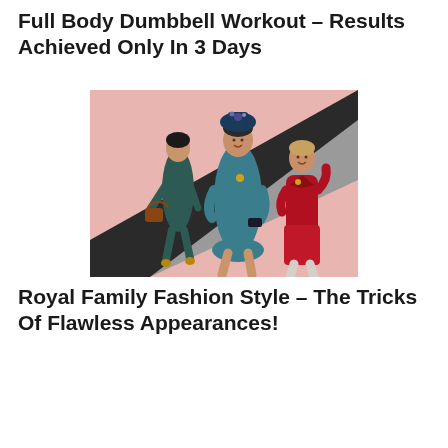Full Body Dumbbell Workout – Results Achieved Only In 3 Days
[Figure (photo): Three women in fashionable outfits against a pink and grey diagonal background. Left: woman in dark teal fitted dress holding a brown handbag. Center: woman in teal blue coat dress wearing a decorative headpiece. Right: woman in red blazer and skirt set.]
Royal Family Fashion Style – The Tricks Of Flawless Appearances!